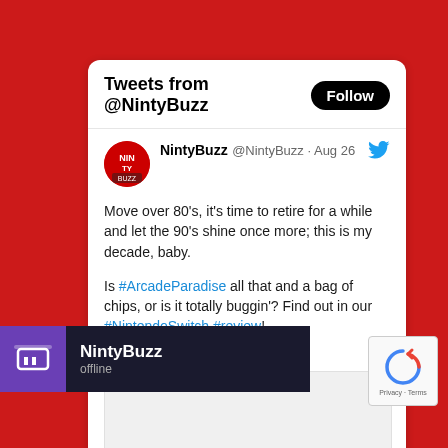Tweets from @NintyBuzz
NintyBuzz @NintyBuzz · Aug 26
Move over 80's, it's time to retire for a while and let the 90's shine once more; this is my decade, baby.

Is #ArcadeParadise all that and a bag of chips, or is it totally buggin'? Find out in our #NintendoSwitch #review! nintybuzz.com/2022/08/26/rev…
NintyBuzz
offline